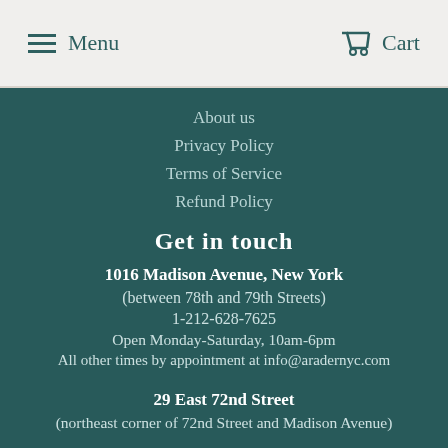Menu   Cart
About us
Privacy Policy
Terms of Service
Refund Policy
Get in touch
1016 Madison Avenue, New York
(between 78th and 79th Streets)
1-212-628-7625
Open Monday-Saturday, 10am-6pm
All other times by appointment at info@aradernyc.com
29 East 72nd Street
(northeast corner of 72nd Street and Madison Avenue)